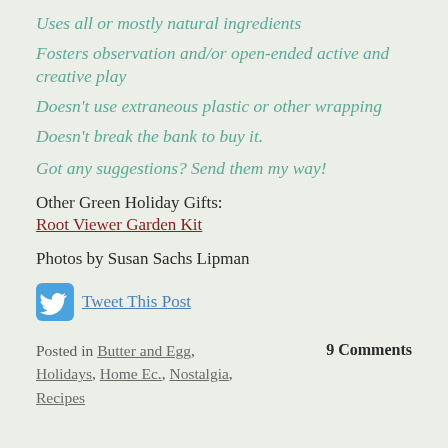Uses all or mostly natural ingredients
Fosters observation and/or open-ended active and creative play
Doesn't use extraneous plastic or other wrapping
Doesn't break the bank to buy it.
Got any suggestions? Send them my way!
Other Green Holiday Gifts:
Root Viewer Garden Kit
Photos by Susan Sachs Lipman
Tweet This Post
Posted in Butter and Egg, Holidays, Home Ec., Nostalgia, Recipes
9 Comments